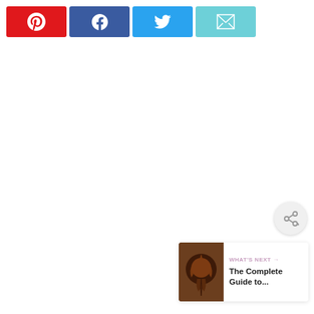[Figure (other): Social share button bar with four buttons: Pinterest (red), Facebook (dark blue), Twitter (light blue), Email (teal/cyan)]
[Figure (other): Floating circular share button with a share icon on light grey background]
[Figure (other): Chocolate fondue or drizzle image thumbnail]
WHAT'S NEXT →
The Complete Guide to...